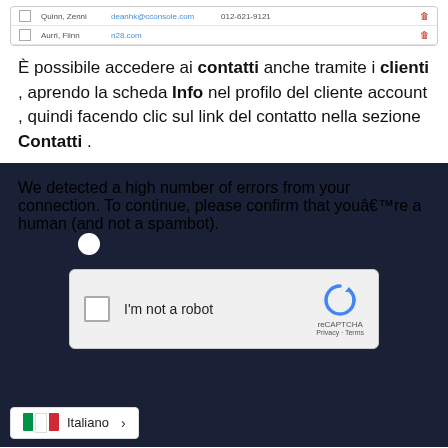[Figure (screenshot): Screenshot of a contact table with two rows showing contact names, emails, phone numbers, and delete icons with checkboxes.]
È possibile accedere ai contatti anche tramite i clienti , aprendo la scheda Info nel profilo del cliente account , quindi facendo clic sul link del contatto nella sezione Contatti .
[Figure (screenshot): reCAPTCHA challenge screen with dark background showing text: 'We detected a high number of errors from your connection. To continue, please confirm that youâ€™re a human (and not a spambot).' with an 'I'm not a robot' checkbox widget.]
[Figure (screenshot): Language selector bar showing Italian flag and 'Italiano' label with a right arrow.]